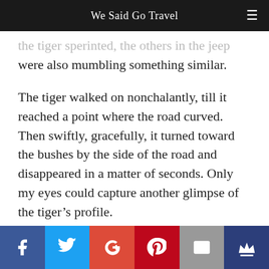We Said Go Travel
the tiger sperinted, the others in the jeep were also mumbling something similar.
The tiger walked on nonchalantly, till it reached a point where the road curved. Then swiftly, gracefully, it turned toward the bushes by the side of the road and disappeared in a matter of seconds. Only my eyes could capture another glimpse of the tiger’s profile.
“Wasn’t it beautiful?” said my husband.